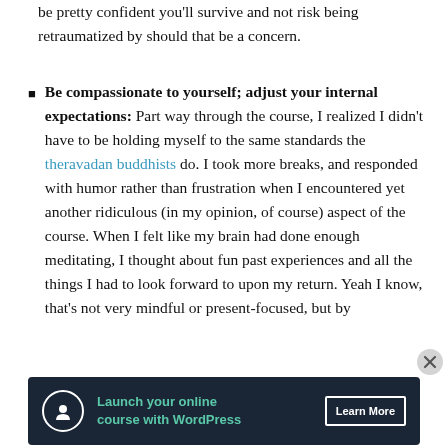be pretty confident you'll survive and not risk being retraumatized by should that be a concern.
Be compassionate to yourself; adjust your internal expectations: Part way through the course, I realized I didn't have to be holding myself to the same standards the theravadan buddhists do. I took more breaks, and responded with humor rather than frustration when I encountered yet another ridiculous (in my opinion, of course) aspect of the course. When I felt like my brain had done enough meditating, I thought about fun past experiences and all the things I had to look forward to upon my return. Yeah I know, that's not very mindful or present-focused, but by
Advertisements
[Figure (infographic): Advertisement banner: Launch your online course with WordPress. Learn More button.]